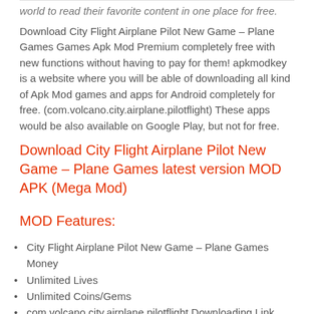world to read their favorite content in one place for free.
Download City Flight Airplane Pilot New Game – Plane Games Games Apk Mod Premium completely free with new functions without having to pay for them! apkmodkey is a website where you will be able of downloading all kind of Apk Mod games and apps for Android completely for free. (com.volcano.city.airplane.pilotflight) These apps would be also available on Google Play, but not for free.
Download City Flight Airplane Pilot New Game – Plane Games latest version MOD APK (Mega Mod)
MOD Features:
City Flight Airplane Pilot New Game – Plane Games Money
Unlimited Lives
Unlimited Coins/Gems
com.volcano.city.airplane.pilotflight Downloading Link Working fine
MOD Information of City Flight Airplane Pilot New Game - Plane Games